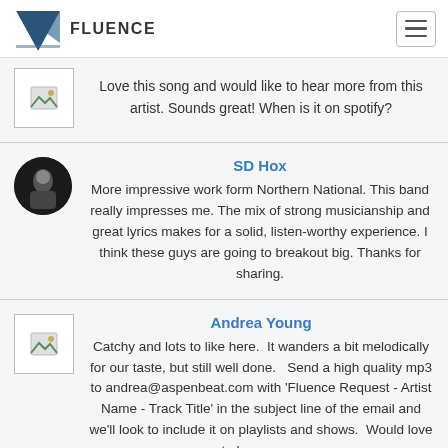FLUENCE
Love this song and would like to hear more from this artist. Sounds great! When is it on spotify?
SD Hox
More impressive work form Northern National. This band really impresses me. The mix of strong musicianship and great lyrics makes for a solid, listen-worthy experience. I think these guys are going to breakout big. Thanks for sharing.
Andrea Young
Catchy and lots to like here.  It wanders a bit melodically for our taste, but still well done.   Send a high quality mp3 to andrea@aspenbeat.com with 'Fluence Request - Artist Name - Track Title' in the subject line of the email and we'll look to include it on playlists and shows.  Would love to hear some